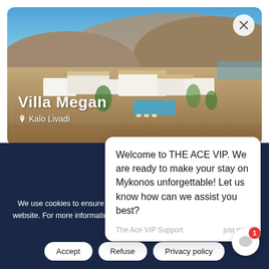[Figure (photo): Aerial view of Villa Megan in Kalo Livadi, Mykonos — white villa complex on arid hillside with pool, overlooking the sea]
Villa Megan
Kalo Livadi
From: Up
Welcome to THE ACE VIP. We are ready to make your stay on Mykonos unforgettable! Let us know how can we assist you best?
The Ace VIP Support   just now
We use cookies to ensure that we give you the best experience on our website. For more information please check our Personal Data Protection & Privacy Policy.
Accept
Refuse
Privacy policy